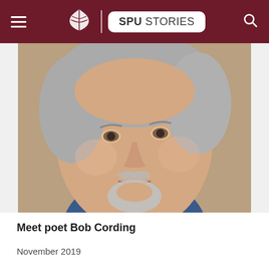SPU STORIES
[Figure (photo): Close-up portrait of an older man with gray hair and a gray goatee beard, wearing a blue shirt, photographed against a warm beige/brown background.]
Meet poet Bob Cording
November 2019